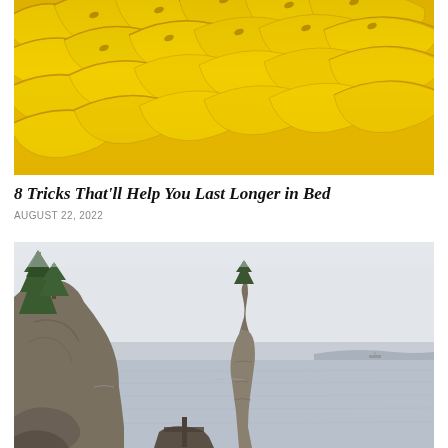[Figure (photo): Close-up photo of many yellow bananas filling the entire frame]
8 Tricks That'll Help You Last Longer in Bed
AUGUST 22, 2022
[Figure (photo): Outdoor landscape photo showing rocky coastal cliffs with evergreen trees on the left, a distinctive tall rock formation (Siwash Rock) in the center-right, calm grey water, and an overcast sky in the background]